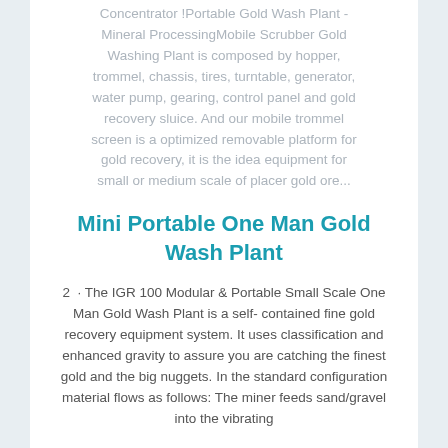Concentrator !Portable Gold Wash Plant - Mineral ProcessingMobile Scrubber Gold Washing Plant is composed by hopper, trommel, chassis, tires, turntable, generator, water pump, gearing, control panel and gold recovery sluice. And our mobile trommel screen is a optimized removable platform for gold recovery, it is the idea equipment for small or medium scale of placer gold ore...
Mini Portable One Man Gold Wash Plant
2 · The IGR 100 Modular & Portable Small Scale One Man Gold Wash Plant is a self-contained fine gold recovery equipment system. It uses classification and enhanced gravity to assure you are catching the finest gold and the big nuggets. In the standard configuration material flows as follows: The miner feeds sand/gravel into the vibrating